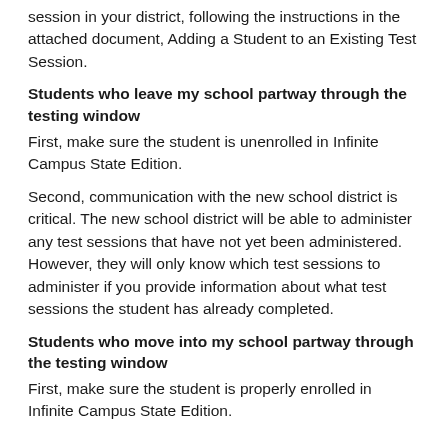session in your district, following the instructions in the attached document, Adding a Student to an Existing Test Session.
Students who leave my school partway through the testing window
First, make sure the student is unenrolled in Infinite Campus State Edition.
Second, communication with the new school district is critical. The new school district will be able to administer any test sessions that have not yet been administered. However, they will only know which test sessions to administer if you provide information about what test sessions the student has already completed.
Students who move into my school partway through the testing window
First, make sure the student is properly enrolled in Infinite Campus State Edition.